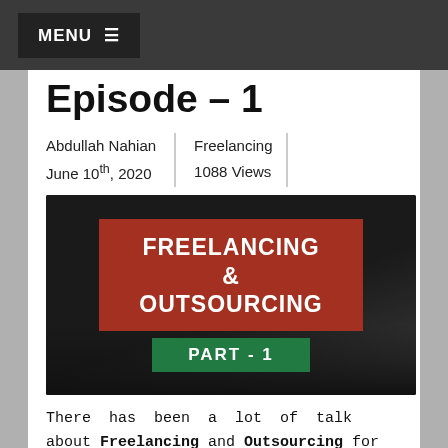MENU ≡
Episode – 1
Abdullah Nahian | Freelancing
June 10th, 2020 | 1088 Views
[Figure (photo): Thumbnail image for 'Freelancing & Outsourcing Part - 1' with a dark background showing a laptop, a large red box with white bold text reading 'FREELANCING & OUTSOURCING', and a green box below reading 'PART - 1'.]
There has been a lot of talk about Freelancing and Outsourcing for